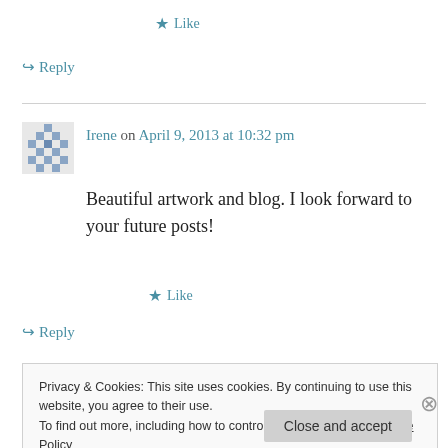★ Like
↪ Reply
Irene on April 9, 2013 at 10:32 pm
Beautiful artwork and blog. I look forward to your future posts!
★ Like
↪ Reply
Privacy & Cookies: This site uses cookies. By continuing to use this website, you agree to their use.
To find out more, including how to control cookies, see here: Cookie Policy
Close and accept